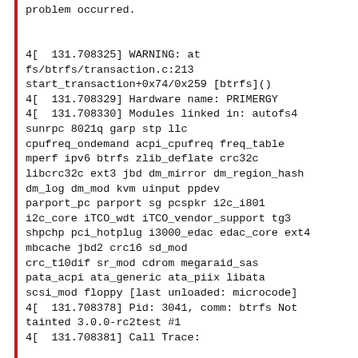problem occurred.

4[  131.708325] WARNING: at fs/btrfs/transaction.c:213 start_transaction+0x74/0x259 [btrfs]()
4[  131.708329] Hardware name: PRIMERGY
4[  131.708330] Modules linked in: autofs4 sunrpc 8021q garp stp llc cpufreq_ondemand acpi_cpufreq freq_table mperf ipv6 btrfs zlib_deflate crc32c libcrc32c ext3 jbd dm_mirror dm_region_hash dm_log dm_mod kvm uinput ppdev parport_pc parport sg pcspkr i2c_i801 i2c_core iTCO_wdt iTCO_vendor_support tg3 shpchp pci_hotplug i3000_edac edac_core ext4 mbcache jbd2 crc16 sd_mod crc_t10dif sr_mod cdrom megaraid_sas pata_acpi ata_generic ata_piix libata scsi_mod floppy [last unloaded: microcode]
4[  131.708378] Pid: 3041, comm: btrfs Not tainted 3.0.0-rc2test #1
4[  131.708381] Call Trace: